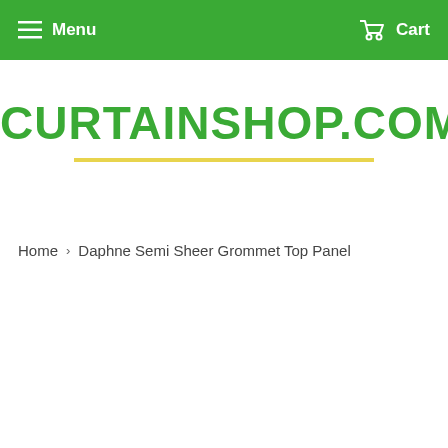Menu  Cart
CURTAINSHOP.COM
Home › Daphne Semi Sheer Grommet Top Panel